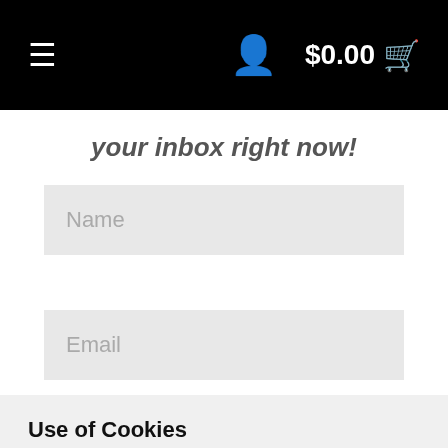≡   [user icon]   $0.00 [cart]
your inbox right now!
Name
Email
JOIN
Use of Cookies
We use cookies on our website to give you the most relevant experience by remembering your preferences and repeat visits. By clicking "Accept", you consent to the use of ALL the cookies.
Cookie settings
ACCEPT